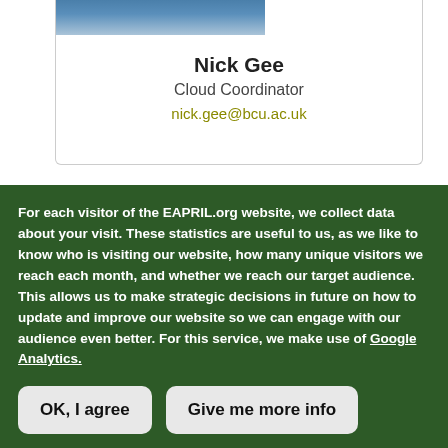[Figure (photo): Partial photo of Nick Gee at top of card, showing shoulders and face cropped at top]
Nick Gee
Cloud Coordinator
nick.gee@bcu.ac.uk
For each visitor of the EAPRIL.org website, we collect data about your visit. These statistics are useful to us, as we like to know who is visiting our website, how many unique visitors we reach each month, and whether we reach our target audience. This allows us to make strategic decisions in future on how to update and improve our website so we can engage with our audience even better. For this service, we make use of Google Analytics.